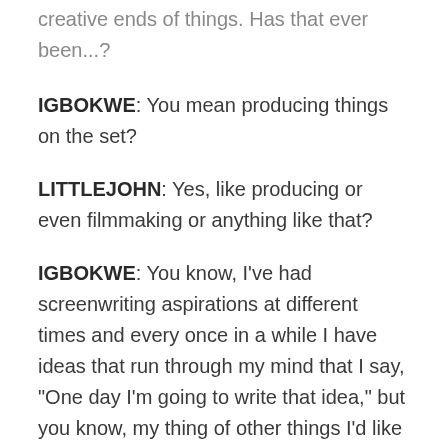creative ends of things. Has that ever been...?
IGBOKWE: You mean producing things on the set?
LITTLEJOHN: Yes, like producing or even filmmaking or anything like that?
IGBOKWE: You know, I've had screenwriting aspirations at different times and every once in a while I have ideas that run through my mind that I say, "One day I'm going to write that idea," but you know, my thing of other things I'd like to do actually are outside of the TV industry. I guess as I'm getting older I'm becoming